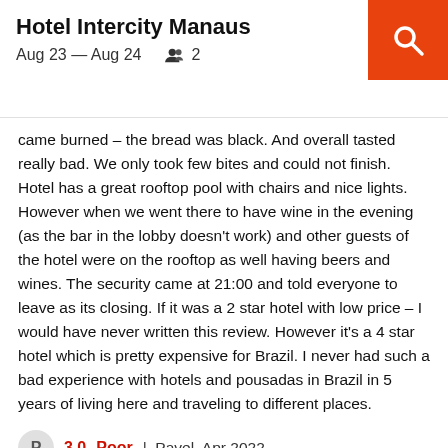Hotel Intercity Manaus
Aug 23 — Aug 24   2
came burned – the bread was black. And overall tasted really bad. We only took few bites and could not finish. Hotel has a great rooftop pool with chairs and nice lights. However when we went there to have wine in the evening (as the bar in the lobby doesn't work) and other guests of the hotel were on the rooftop as well having beers and wines. The security came at 21:00 and told everyone to leave as its closing. If it was a 2 star hotel with low price – I would have never written this review. However it's a 4 star hotel which is pretty expensive for Brazil. I never had such a bad experience with hotels and pousadas in Brazil in 5 years of living here and traveling to different places.
3.0 Poor | Pavel, Apr 2022
Pros:  The rooms are big with a table for work. The rooftop is nice with swimming pool and nice view. The hotel is pretty close to the center, just 10 min uber to good restaurants.
Cons:  Besides good location and nice view on a rooftop, almost everything else was terrible and I am usually not that picky with hotels. Check In - took very long time, even though it was empty when we arrived. Payment - during check in I